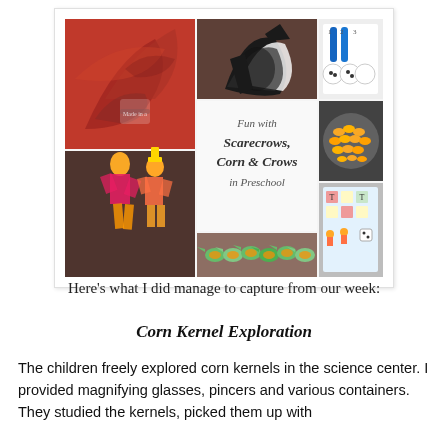[Figure (photo): Collage of preschool activities with scarecrows, corn and crows. Shows 7 photos arranged in a grid: red painted birds, black and white crow art, counting activity with blue tweezers, scarecrow figures, text reading 'Fun with Scarecrows, Corn & Crows in Preschool', corn kernels in a bowl, colorful scarecrow figures, green painted crow/bird shapes, and a board game.]
Here’s what I did manage to capture from our week:
Corn Kernel Exploration
The children freely explored corn kernels in the science center. I provided magnifying glasses, pincers and various containers. They studied the kernels, picked them up with